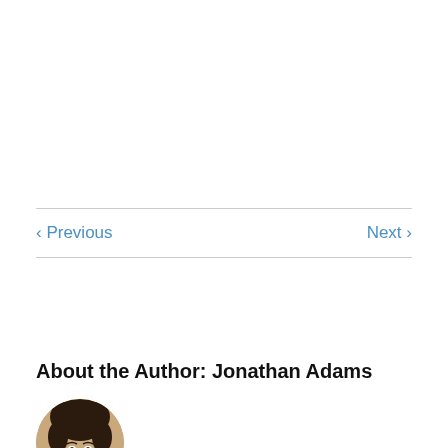< Previous    Next >
About the Author: Jonathan Adams
[Figure (photo): Circular portrait photo of Jonathan Adams, a young man with dark hair]